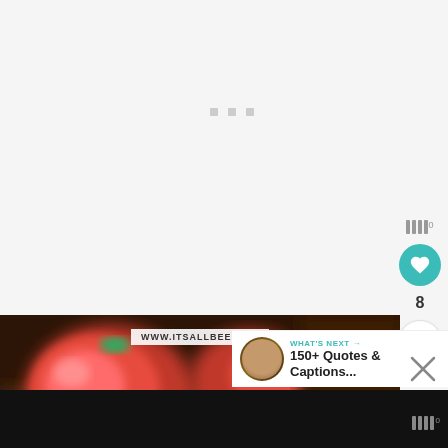[Figure (screenshot): White background area with three small gray square dots/indicators near center, representing a loading or pagination indicator]
[Figure (infographic): Right sidebar with save icon (four vertical bars with superscript 0), teal heart button, number 8, and share button with plus icon]
[Figure (photo): Blurred food photograph showing red tomatoes and dark background with www.itsallbee.com watermark label]
[Figure (screenshot): What's Next overlay panel with teal arrow text 'WHAT'S NEXT', avatar thumbnail, and text '150+ Quotes & Captions...']
[Figure (infographic): Dark bottom bar with close X button and save icon repeated at bottom right]